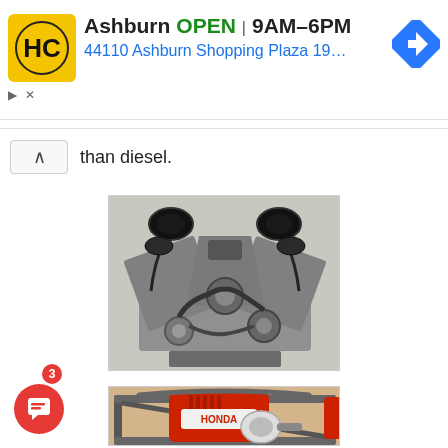[Figure (screenshot): Ad banner: HC logo (yellow background), Ashburn OPEN 9AM-6PM, 44110 Ashburn Shopping Plaza 190, A..., with blue navigation arrow icon]
than diesel.
[Figure (photo): V-type engine block with dual throttle bodies, chains, and pulleys, viewed from front/top, on a white background]
[Figure (photo): Honda small engine water pump/generator on a metal frame stand, red Honda engine visible, partial view]